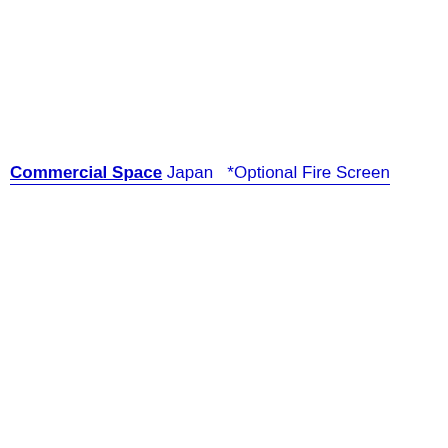Commercial Space Japan  *Optional Fire Screen